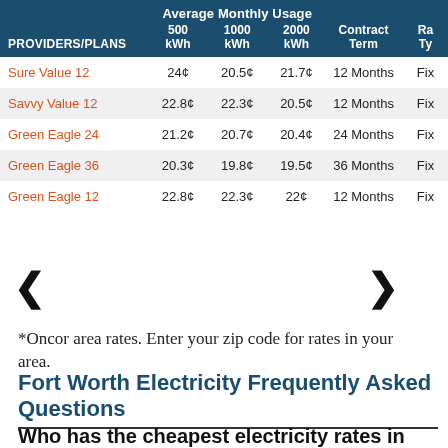| PROVIDERS/PLANS | 500 kWh | 1000 kWh | 2000 kWh | Contract Term | Rate Type |
| --- | --- | --- | --- | --- | --- |
| Sure Value 12 | 24¢ | 20.5¢ | 21.7¢ | 12 Months | Fix |
| Savvy Value 12 | 22.8¢ | 22.3¢ | 20.5¢ | 12 Months | Fix |
| Green Eagle 24 | 21.2¢ | 20.7¢ | 20.4¢ | 24 Months | Fix |
| Green Eagle 36 | 20.3¢ | 19.8¢ | 19.5¢ | 36 Months | Fix |
| Green Eagle 12 | 22.8¢ | 22.3¢ | 22¢ | 12 Months | Fix |
*Oncor area rates. Enter your zip code for rates in your area.
Fort Worth Electricity Frequently Asked Questions
Who has the cheapest electricity rates in